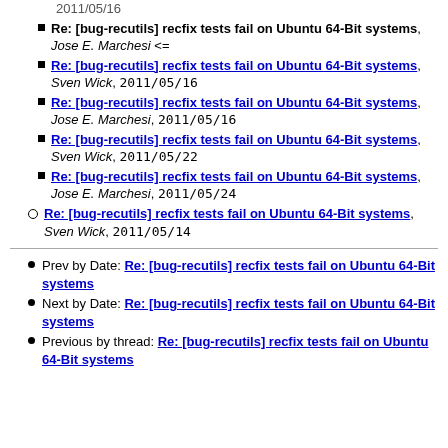2011/05/16 (truncated top)
Re: [bug-recutils] recfix tests fail on Ubuntu 64-Bit systems, Jose E. Marchesi <=
Re: [bug-recutils] recfix tests fail on Ubuntu 64-Bit systems, Sven Wick, 2011/05/16
Re: [bug-recutils] recfix tests fail on Ubuntu 64-Bit systems, Jose E. Marchesi, 2011/05/16
Re: [bug-recutils] recfix tests fail on Ubuntu 64-Bit systems, Sven Wick, 2011/05/22
Re: [bug-recutils] recfix tests fail on Ubuntu 64-Bit systems, Jose E. Marchesi, 2011/05/24
Re: [bug-recutils] recfix tests fail on Ubuntu 64-Bit systems, Sven Wick, 2011/05/14
Prev by Date: Re: [bug-recutils] recfix tests fail on Ubuntu 64-Bit systems
Next by Date: Re: [bug-recutils] recfix tests fail on Ubuntu 64-Bit systems
Previous by thread: Re: [bug-recutils] recfix tests fail on Ubuntu 64-Bit systems